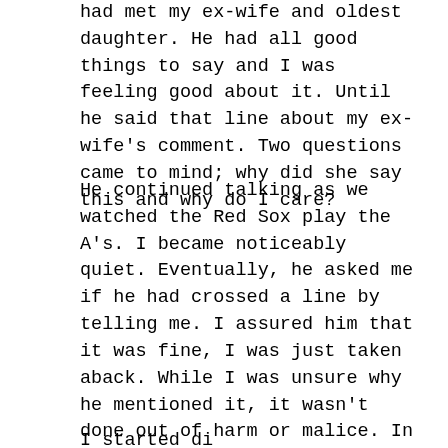had met my ex-wife and oldest daughter. He had all good things to say and I was feeling good about it. Until he said that line about my ex-wife's comment. Two questions came to mind; why did she say this and why do I care?
He continued talking as we watched the Red Sox play the A's. I became noticeably quiet. Eventually, he asked me if he had crossed a line by telling me. I assured him that it was fine, I was just taken aback. While I was unsure why he mentioned it, it wasn't done out of harm or malice. In fact, he probably mentioned it because it resonated with him after being in a terrible marriage himself. The pressing question remained. Why is this bothering me?
I started disa...